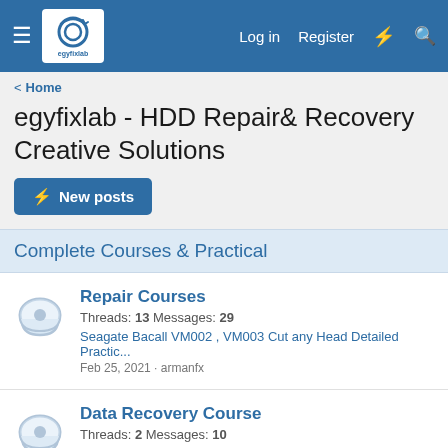egyfixlab navigation header with Log in, Register, lightning bolt, and search icons
< Home
egyfixlab - HDD Repair& Recovery Creative Solutions
⚡ New posts
Complete Courses & Practical
Repair Courses
Threads: 13 Messages: 29
Seagate Bacall VM002 , VM003 Cut any Head Detailed Practic...
Feb 25, 2021 · armanfx
Data Recovery Course
Threads: 2 Messages: 10
Fix MCMT issue and LED 00000047 Complete Video
Oct 3, 2018 · egyfixlab